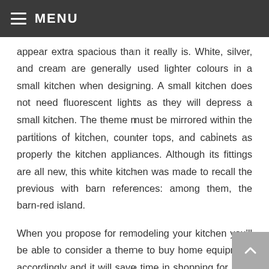≡ MENU
appear extra spacious than it really is. White, silver, and cream are generally used lighter colours in a small kitchen when designing. A small kitchen does not need fluorescent lights as they will depress a small kitchen. The theme must be mirrored within the partitions of kitchen, counter tops, and cabinets as properly the kitchen appliances. Although its fittings are all new, this white kitchen was made to recall the previous with barn references: among them, the barn-red island.
When you propose for remodeling your kitchen you'll be able to consider a theme to buy home equipment accordingly and it will save time in shopping for such things. A kitchen wants a focal point – a component that catches your eye when you walk in. Here, it's the putting cover-style vary hood (#75016), which pops out against